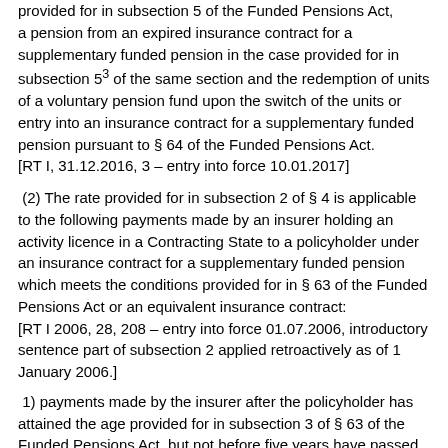provided for in subsection 5³ of the Funded Pensions Act, a pension from an expired insurance contract for a supplementary funded pension in the case provided for in subsection 5³ of the same section and the redemption of units of a voluntary pension fund upon the switch of the units or entry into an insurance contract for a supplementary funded pension pursuant to § 64 of the Funded Pensions Act.
[RT I, 31.12.2016, 3 – entry into force 10.01.2017]
(2) The rate provided for in subsection 2 of § 4 is applicable to the following payments made by an insurer holding an activity licence in a Contracting State to a policyholder under an insurance contract for a supplementary funded pension which meets the conditions provided for in § 63 of the Funded Pensions Act or an equivalent insurance contract:
[RT I 2006, 28, 208 – entry into force 01.07.2006, introductory sentence part of subsection 2 applied retroactively as of 1 January 2006.]
1) payments made by the insurer after the policyholder has attained the age provided for in subsection 3 of § 63 of the Funded Pensions Act, but not before five years have passed since the entry into the contract;
[RT I, 27.10.2020, 1 – entry into force 01.01.2021]